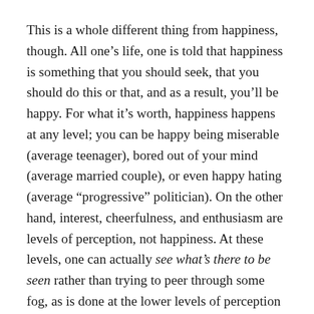This is a whole different thing from happiness, though. All one's life, one is told that happiness is something that you should seek, that you should do this or that, and as a result, you'll be happy. For what it's worth, happiness happens at any level; you can be happy being miserable (average teenager), bored out of your mind (average married couple), or even happy hating (average “progressive” politician). On the other hand, interest, cheerfulness, and enthusiasm are levels of perception, not happiness. At these levels, one can actually see what’s there to be seen rather than trying to peer through some fog, as is done at the lower levels of perception (see the article, Space, Emotion and Well-being).
Ultimately, man is a seeker, a seeker after knowledge